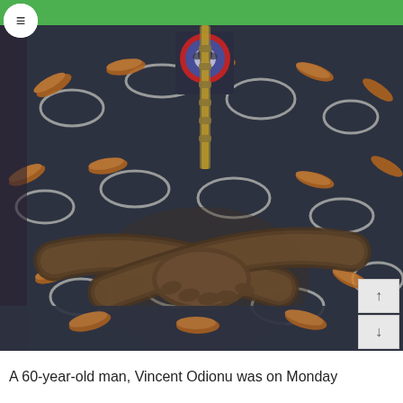[Figure (photo): Close-up photo of a person wearing a dark patterned traditional Nigerian outfit with orange/brown decorative feather-like embellishments and white curved patterns. The person's arms are crossed over their lap, with hands folded. A red and blue emblem/badge is visible on the chest area. A green navigation bar and hamburger menu icon appear at the top. Scroll up/down buttons visible on the right side.]
A 60-year-old man, Vincent Odionu was on Monday